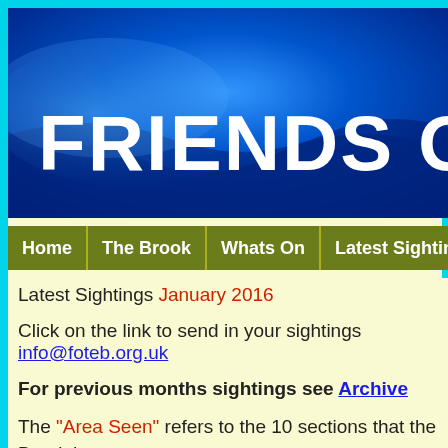[Figure (illustration): Banner image with blue gradient wave design and white bold text reading 'FRIENDS OF THE EN' (partially cropped)]
| Home | The Brook | Whats On | Latest Sightings | Conserva... |
| --- | --- | --- | --- | --- |
Latest Sightings January 2016
Click on the link to send in your sightings info@foteb.org.uk
For previous months sightings see Archive
The "Area Seen" refers to the 10 sections that the Brook has Monitoring ).
All sightings unless stated are from personal observations by...